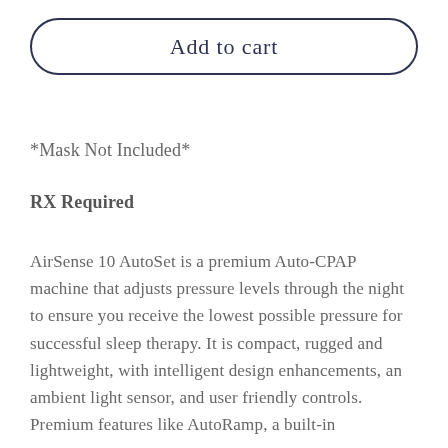Add to cart
*Mask Not Included*
RX Required
AirSense 10 AutoSet is a premium Auto-CPAP machine that adjusts pressure levels through the night to ensure you receive the lowest possible pressure for successful sleep therapy. It is compact, rugged and lightweight, with intelligent design enhancements, an ambient light sensor, and user friendly controls. Premium features like AutoRamp, a built-in